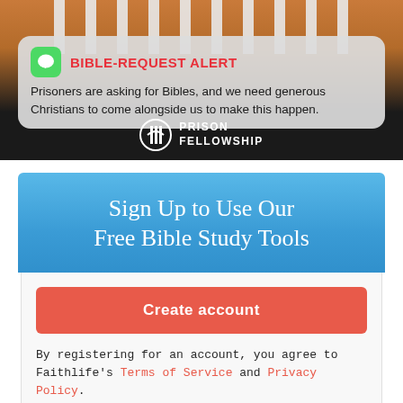[Figure (photo): Photo of a person in orange prison jumpsuit behind white bars, with a notification bubble overlay showing a Bible-Request Alert from Prison Fellowship. Green message icon on left. Text reads: Prisoners are asking for Bibles, and we need generous Christians to come alongside us to make this happen. Prison Fellowship logo at bottom.]
Sign Up to Use Our Free Bible Study Tools
Create account
By registering for an account, you agree to Faithlife's Terms of Service and Privacy Policy.